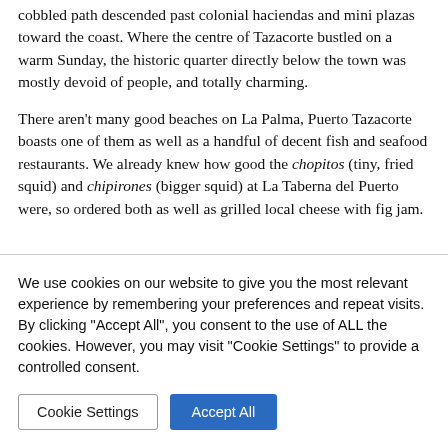cobbled path descended past colonial haciendas and mini plazas toward the coast. Where the centre of Tazacorte bustled on a warm Sunday, the historic quarter directly below the town was mostly devoid of people, and totally charming.
There aren't many good beaches on La Palma, Puerto Tazacorte boasts one of them as well as a handful of decent fish and seafood restaurants. We already knew how good the chopitos (tiny, fried squid) and chipirones (bigger squid) at La Taberna del Puerto were, so ordered both as well as grilled local cheese with fig jam.
We use cookies on our website to give you the most relevant experience by remembering your preferences and repeat visits. By clicking "Accept All", you consent to the use of ALL the cookies. However, you may visit "Cookie Settings" to provide a controlled consent.